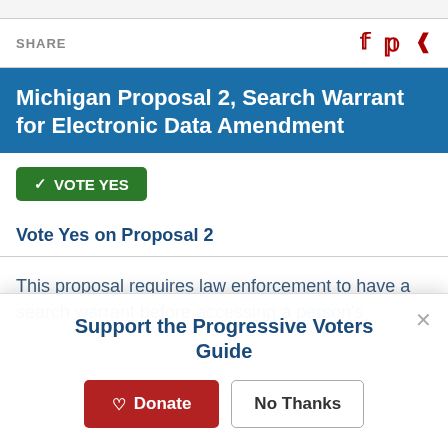SHARE
Michigan Proposal 2, Search Warrant for Electronic Data Amendment
✓ VOTE YES
Vote Yes on Proposal 2
This proposal requires law enforcement to have a search warrant before accessing a person's
Support the Progressive Voters Guide
Donate   No Thanks